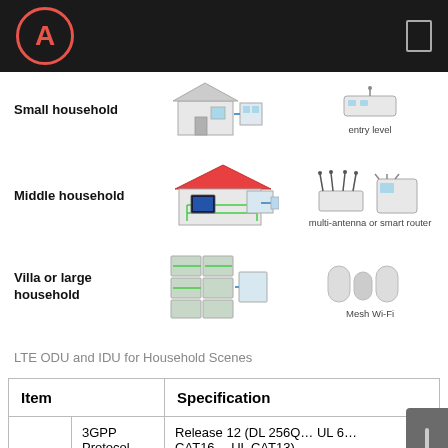A
[Figure (infographic): Three household scenarios shown: Small household with entry level router, Middle household with multi-antenna or smart router, Villa or large household with Mesh Wi-Fi. Each row shows a diagram of the home network setup alongside the recommended router type.]
LTE ODU and IDU for Household Scenes
| Item |  | Specification |
| --- | --- | --- |
|  | 3GPP Protocol | Release 12 (DL 256Q… UL 6… CAT16… UL CAT13) |